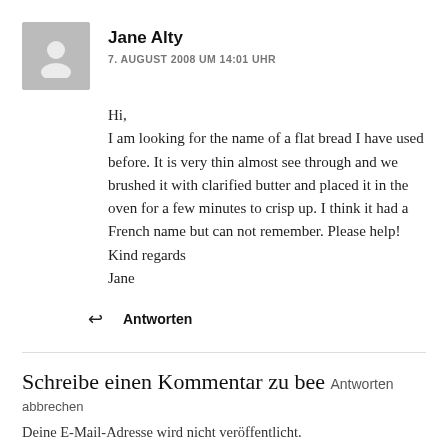[Figure (illustration): Gray avatar placeholder icon showing a generic person silhouette]
Jane Alty
7. AUGUST 2008 UM 14:01 UHR
Hi,
I am looking for the name of a flat bread I have used before. It is very thin almost see through and we brushed it with clarified butter and placed it in the oven for a few minutes to crisp up. I think it had a French name but can not remember. Please help!
Kind regards
Jane
↩ Antworten
Schreibe einen Kommentar zu bee Antworten
abbrechen
Deine E-Mail-Adresse wird nicht veröffentlicht.